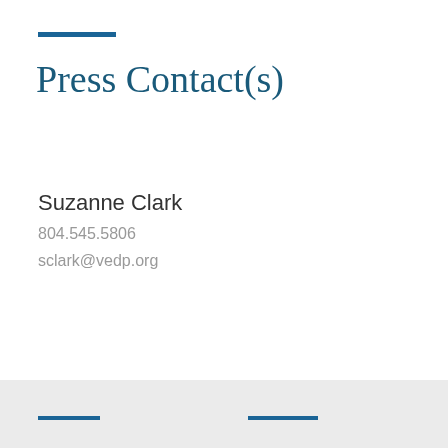Press Contact(s)
Suzanne Clark
804.545.5806
sclark@vedp.org